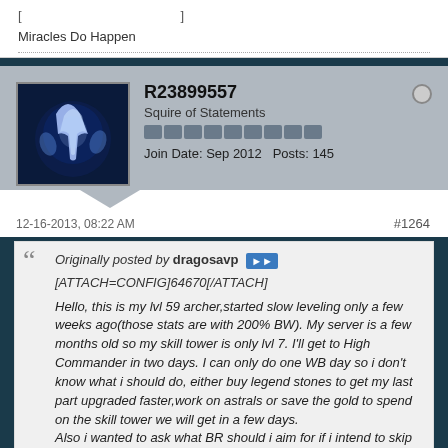Miracles Do Happen
R23899557
Squire of Statements
Join Date: Sep 2012   Posts: 145
12-16-2013, 08:22 AM
#1264
Originally posted by dragosavp
[ATTACH=CONFIG]64670[/ATTACH]

Hello, this is my lvl 59 archer,started slow leveling only a few weeks ago(those stats are with 200% BW). My server is a few months old so my skill tower is only lvl 7. I'll get to High Commander in two days. I can only do one WB day so i don't know what i should do, either buy legend stones to get my last part upgraded faster,work on astrals or save the gold to spend on the skill tower we will get in a few days.
Also i wanted to ask what BR should i aim for if i intend to skip the lvl 60 set and just rush to 70? I